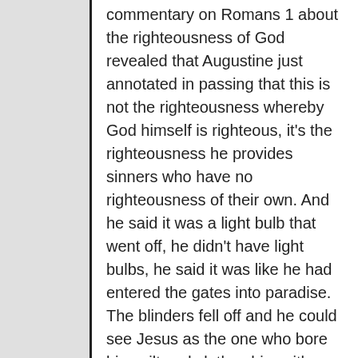commentary on Romans 1 about the righteousness of God revealed that Augustine just annotated in passing that this is not the righteousness whereby God himself is righteous, it's the righteousness he provides sinners who have no righteousness of their own. And he said it was a light bulb that went off, he didn't have light bulbs, he said it was like he had entered the gates into paradise. The blinders fell off and he could see Jesus as the one who bore his guilt and clothes him with an alien righteousness.
A diagnostic that Ray Cortese down at Seven Rivers Pres in Lecanto, Florida, uses just to